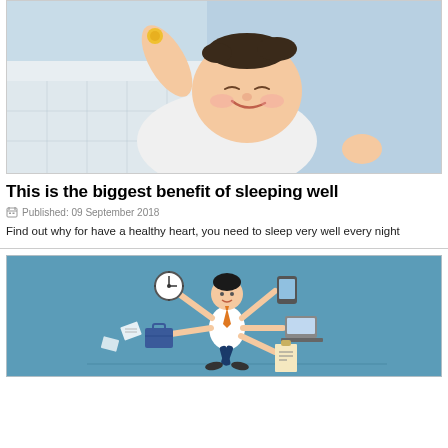[Figure (photo): Smiling baby lying on a blue blanket, arms raised, wearing a white outfit]
This is the biggest benefit of sleeping well
Published: 09 September 2018
Find out why for have a healthy heart, you need to sleep very well every night
[Figure (illustration): Cartoon illustration of a multitasking businessman with multiple arms holding various items (clock, phone, laptop, briefcase, documents) on a teal/blue background]